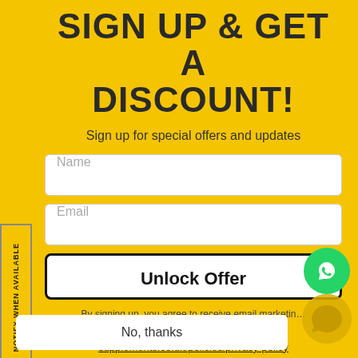SIGN UP & GET A DISCOUNT!
Sign up for special offers and updates
Name
Email
Unlock Offer
By signing up, you agree to receive email marketing
https://www.discount-supplements.co.uk/policies/privacy-policy
[Figure (logo): WhatsApp green circle button with phone icon]
No, thanks
NOTIFY WHEN AVAILABLE